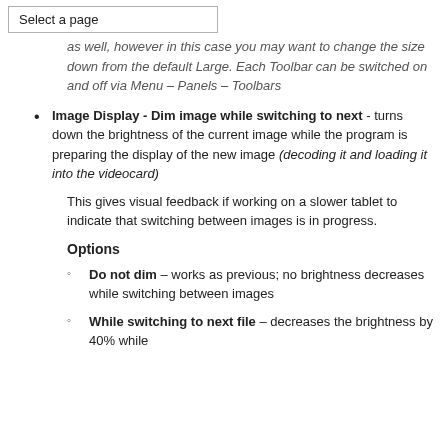Select a page
as well, however in this case you may want to change the size down from the default Large. Each Toolbar can be switched on and off via Menu – Panels – Toolbars
Image Display - Dim image while switching to next - turns down the brightness of the current image while the program is preparing the display of the new image (decoding it and loading it into the videocard)
This gives visual feedback if working on a slower tablet to indicate that switching between images is in progress.
Options
Do not dim – works as previous; no brightness decreases while switching between images
While switching to next file – decreases the brightness by 40% while